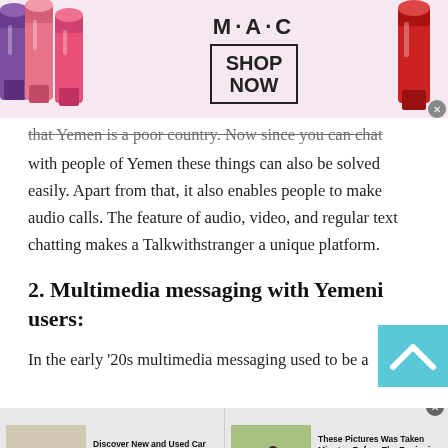[Figure (other): MAC cosmetics advertisement banner with lipsticks on left and right sides, MAC logo in center, and SHOP NOW button in a bordered box.]
that Yemen is a poor country. Now since you can chat with people of Yemen these things can also be solved easily. Apart from that, it also enables people to make audio calls. The feature of audio, video, and regular text chatting makes a Talkwithstranger a unique platform.
2. Multimedia messaging with Yemeni users:
In the early '20s multimedia messaging used to be a
[Figure (other): Back to top arrow button, teal/cyan background with white upward chevron arrow.]
[Figure (other): Bottom advertisement strip with two ad items: 'Discover New and Used Car Deals Near You - Ad by CarDealsNearYou' with car image, and 'These Pictures Was Taken Minutes Before The Beginning Of The Disaster! - Ad by BillyNews' with outdoor people/car image.]